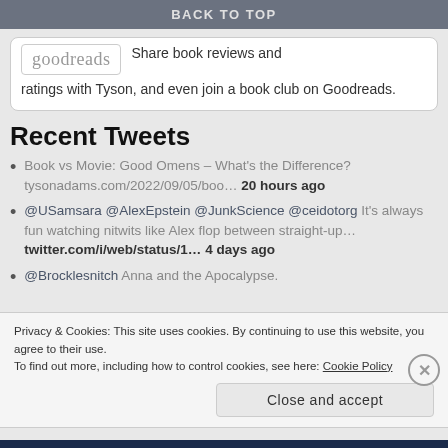BACK TO TOP
[Figure (logo): Goodreads logo in a rounded rectangle box]
Share book reviews and ratings with Tyson, and even join a book club on Goodreads.
Recent Tweets
Book vs Movie: Good Omens – What's the Difference? tysonadams.com/2022/09/05/boo… 20 hours ago
@USamsara @AlexEpstein @JunkScience @ceidotorg It's always fun watching nitwits like Alex flop between straight-up… twitter.com/i/web/status/1… 4 days ago
@Brocklesnitch Anna and the Apocalypse.
Privacy & Cookies: This site uses cookies. By continuing to use this website, you agree to their use.
To find out more, including how to control cookies, see here: Cookie Policy
Close and accept